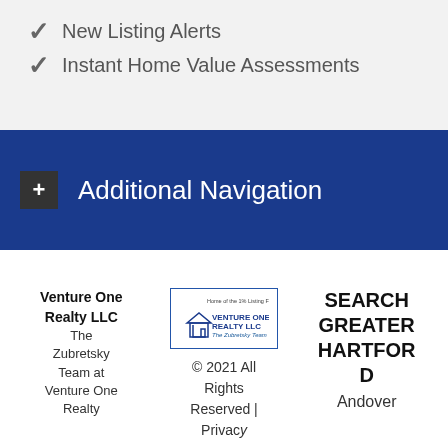✓ New Listing Alerts
✓ Instant Home Value Assessments
+ Additional Navigation
Venture One Realty LLC
The Zubretsky Team at Venture One Realty
[Figure (logo): Venture One Realty LLC logo with house icon and The Zubretsky Team tagline]
© 2021 All Rights Reserved | Privacy
SEARCH GREATER HARTFORD
Andover